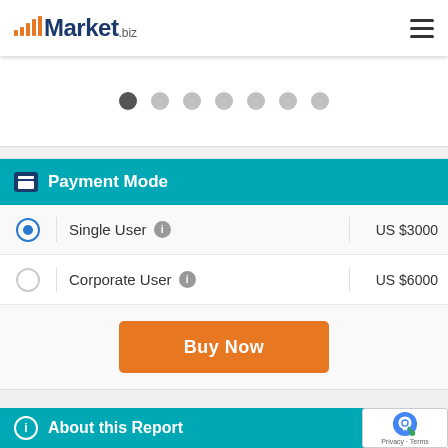Market.biz
[Figure (other): Carousel pagination dots, 7 dots with the first one active/dark]
Payment Mode
Single User   US $3000
Corporate User   US $6000
Buy Now
About this Report